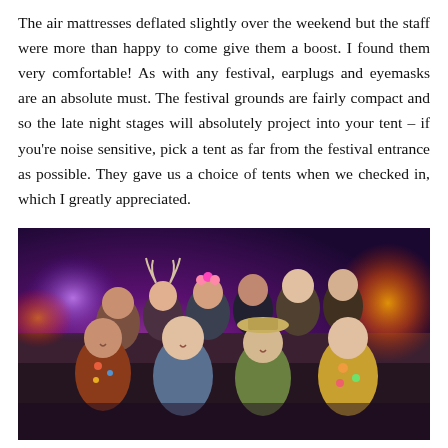The air mattresses deflated slightly over the weekend but the staff were more than happy to come give them a boost. I found them very comfortable! As with any festival, earplugs and eyemasks are an absolute must. The festival grounds are fairly compact and so the late night stages will absolutely project into your tent – if you're noise sensitive, pick a tent as far from the festival entrance as possible. They gave us a choice of tents when we checked in, which I greatly appreciated.
[Figure (photo): Group photo of approximately 10 people at a festival at night, with purple and orange stage lighting in the background. Some people are wearing festival accessories like antler headbands and flower crowns.]